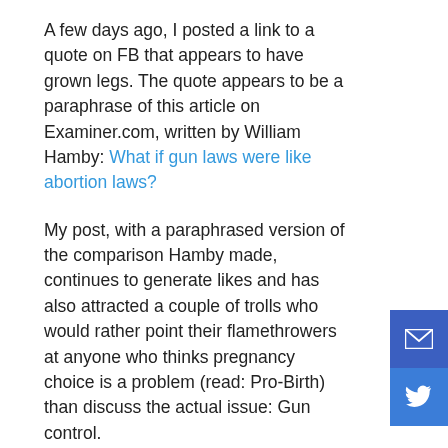A few days ago, I posted a link to a quote on FB that appears to have grown legs. The quote appears to be a paraphrase of this article on Examiner.com, written by William Hamby: What if gun laws were like abortion laws?
My post, with a paraphrased version of the comparison Hamby made, continues to generate likes and has also attracted a couple of trolls who would rather point their flamethrowers at anyone who thinks pregnancy choice is a problem (read: Pro-Birth) than discuss the actual issue: Gun control.
I could address an anti-choice rant and get involved in a days-long fight with someone who's only interested in posting on FB to generate arguments and feed the hate, who's largely impervious to reason, employing logical